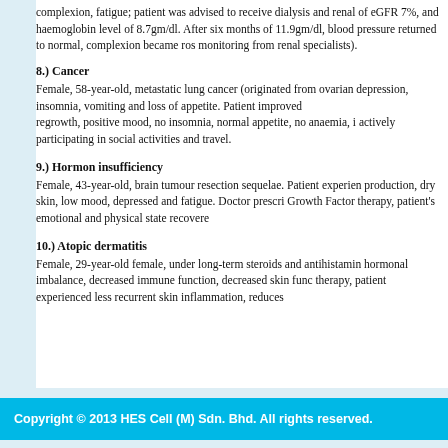complexion, fatigue; patient was advised to receive dialysis and renal of eGFR 7%, and haemoglobin level of 8.7gm/dl. After six months of 11.9gm/dl, blood pressure returned to normal, complexion became ros monitoring from renal specialists).
8.) Cancer
Female, 58-year-old, metastatic lung cancer (originated from ovarian depression, insomnia, vomiting and loss of appetite. Patient improved regrowth, positive mood, no insomnia, normal appetite, no anaemia, i actively participating in social activities and travel.
9.) Hormon insufficiency
Female, 43-year-old, brain tumour resection sequelae. Patient experien production, dry skin, low mood, depressed and fatigue. Doctor prescri Growth Factor therapy, patient's emotional and physical state recovere
10.) Atopic dermatitis
Female, 29-year-old female, under long-term steroids and antihistamin hormonal imbalance, decreased immune function, decreased skin func therapy, patient experienced less recurrent skin inflammation, reduces
Copyright © 2013 HES Cell (M) Sdn. Bhd. All rights reserved.